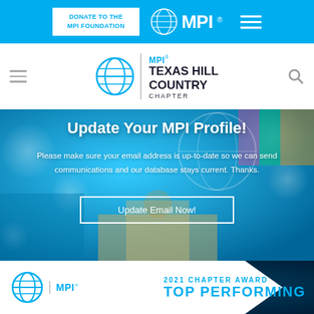DONATE TO THE MPI FOUNDATION | MPI (logo) | Menu
[Figure (logo): MPI Texas Hill Country Chapter logo with globe icon and text]
Update Your MPI Profile!
Please make sure your email address is up-to-date so we can send communications and our database stays current. Thanks.
Update Email Now!
[Figure (logo): MPI 2021 Chapter Award Top Performing banner with globe logo]